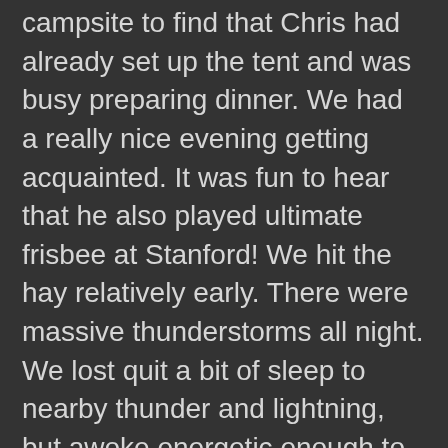campsite to find that Chris had already set up the tent and was busy preparing dinner. We had a really nice evening getting acquainted. It was fun to hear that he also played ultimate frisbee at Stanford! We hit the hay relatively early. There were massive thunderstorms all night. We lost quit a bit of sleep to nearby thunder and lightning, but awoke energetic enough to head back up to the pass where we would take a hike to take one last stab at finding Brown-capped rosy-finch.
We decided to try an area north an west of Mt Bierstadt, but a large gully that would have been unsafe for us to cross thwarted this plan. We instead decided to hike up Mt. Bierstadt proper. As today was a Saturday, the trail was incredibly busy. At least 500 people had decided to climb Mt. Bierstadt today, so this essentially crushed any hope of finding another ptarmigan along this trail. There were about 1.5